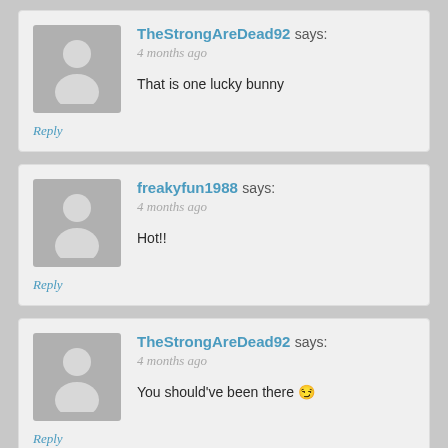TheStrongAreDead92 says: 4 months ago
That is one lucky bunny
Reply
freakyfun1988 says: 4 months ago
Hot!!
Reply
TheStrongAreDead92 says: 4 months ago
You should've been there 😏
Reply